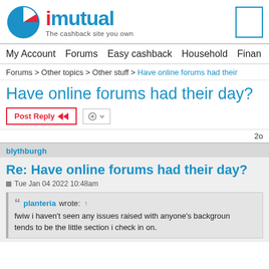[Figure (logo): iMutual logo with pie chart icon and tagline 'The cashback site you own']
My Account  Forums  Easy cashback  Household  Finan
Forums > Other topics > Other stuff > Have online forums had their
Have online forums had their day?
Post Reply  [tools]  20
blythburgh
Re: Have online forums had their day?
Tue Jan 04 2022 10:48am
planteria wrote: ↑
fwiw i haven't seen any issues raised with anyone's background tends to be the little section i check in on.